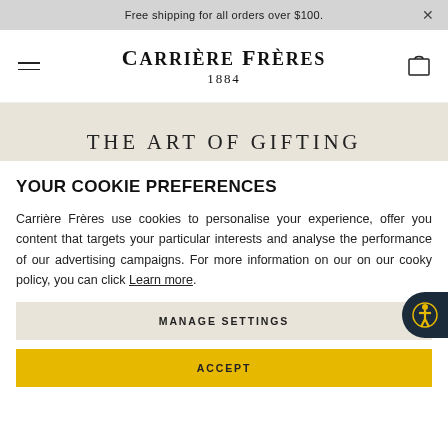Free shipping for all orders over $100.
[Figure (screenshot): Carrière Frères 1884 logo with hamburger menu and shopping bag icon navigation bar]
THE ART OF GIFTING
YOUR COOKIE PREFERENCES
Carrière Frères use cookies to personalise your experience, offer you content that targets your particular interests and analyse the performance of our advertising campaigns. For more information on our on our cooky policy, you can click Learn more.
MANAGE SETTINGS
ACCEPT